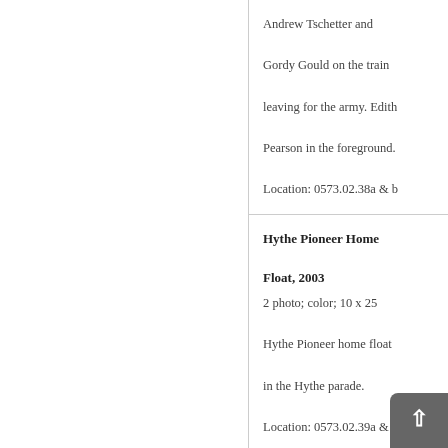Andrew Tschetter and Gordy Gould on the train leaving for the army. Edith Pearson in the foreground. Location: 0573.02.38a & b
Hythe Pioneer Home Float, 2003
2 photo; color; 10 x 25
Hythe Pioneer home float in the Hythe parade.
Location: 0573.02.39a & b
Elks & Royal Purple Float, 2003
1 photo; color; 10 x 25